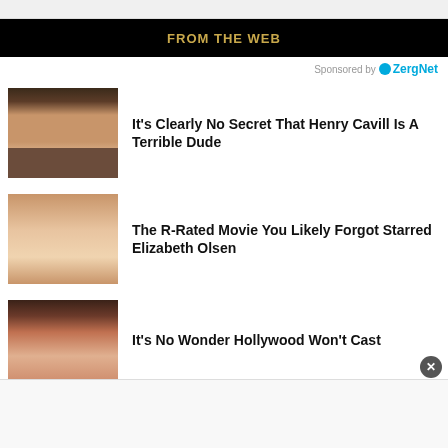FROM THE WEB
Sponsored by ZergNet
It's Clearly No Secret That Henry Cavill Is A Terrible Dude
The R-Rated Movie You Likely Forgot Starred Elizabeth Olsen
It's No Wonder Hollywood Won't Cast